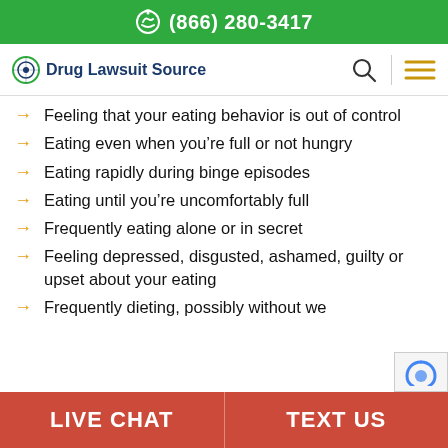(866) 280-3417
Drug Lawsuit Source
Feeling that your eating behavior is out of control
Eating even when you’re full or not hungry
Eating rapidly during binge episodes
Eating until you’re uncomfortably full
Frequently eating alone or in secret
Feeling depressed, disgusted, ashamed, guilty or upset about your eating
Frequently dieting, possibly without we…
LIVE CHAT   TEXT US